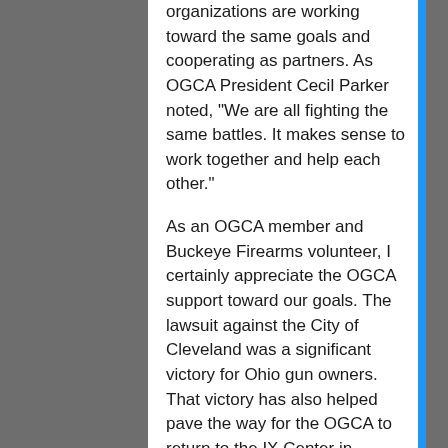organizations are working toward the same goals and cooperating as partners. As OGCA President Cecil Parker noted, "We are all fighting the same battles. It makes sense to work together and help each other."
As an OGCA member and Buckeye Firearms volunteer, I certainly appreciate the OGCA support toward our goals. The lawsuit against the City of Cleveland was a significant victory for Ohio gun owners. That victory has also helped pave the way for the OGCA to return to the IX Center in Cleveland.
The OGCA held a special meeting with their return to the IX Center on October 15